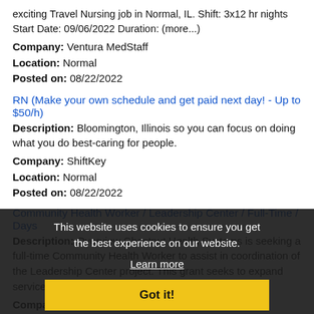exciting Travel Nursing job in Normal, IL. Shift: 3x12 hr nights Start Date: 09/06/2022 Duration: (more...)
Company: Ventura MedStaff
Location: Normal
Posted on: 08/22/2022
RN (Make your own schedule and get paid next day! - Up to $50/h)
Description: Bloomington, Illinois so you can focus on doing what you do best-caring for people.
Company: ShiftKey
Location: Normal
Posted on: 08/22/2022
Community Health Worker / Leadership Center / Full-Time / Days
Description: Overview Chestnut Health Systems is seeking a full-time Community Health Worker to assist in coordination of the Leadership Center project. This grant seeks to expand services across the continuum. (more...)
Company: Chestnut Health Systems
Location: Normal
Posted on: 08/22/2022
This website uses cookies to ensure you get the best experience on our website. Learn more Got it!